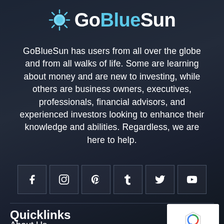[Figure (logo): GoBlueSun logo with sun icon and stylized text. 'Go' in white, 'Blue' in light blue, 'Sun' in white.]
GoBlueSun has users from all over the globe and from all walks of life. Some are learning about money and are new to investing, while others are business owners, executives, professionals, financial advisors, and experienced investors looking to enhance their knowledge and abilities. Regardless, we are here to help.
[Figure (infographic): Row of six social media icon boxes: Facebook, Instagram, Pinterest, Tumblr, Twitter, YouTube]
Quicklinks
About Us